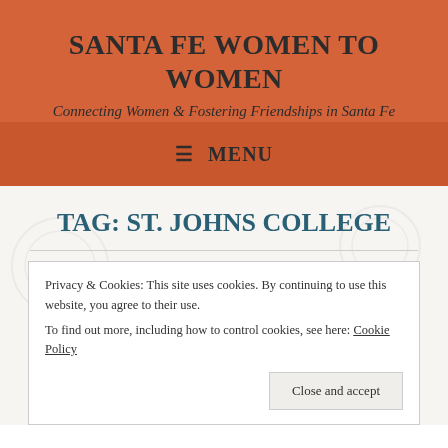SANTA FE WOMEN TO WOMEN
Connecting Women & Fostering Friendships in Santa Fe
≡ MENU
TAG: ST. JOHNS COLLEGE
Privacy & Cookies: This site uses cookies. By continuing to use this website, you agree to their use.
To find out more, including how to control cookies, see here: Cookie Policy
Close and accept